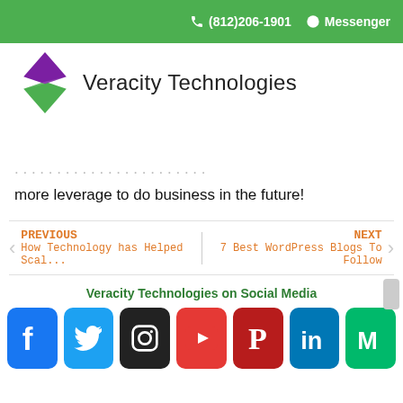(812)206-1901  Messenger
[Figure (logo): Veracity Technologies logo with diamond shape in green and purple]
Veracity Technologies
more leverage to do business in the future!
PREVIOUS - How Technology has Helped Scal...
NEXT - 7 Best WordPress Blogs To Follow
Veracity Technologies on Social Media
[Figure (infographic): Social media icons: Facebook, Twitter, Instagram, YouTube, Pinterest, LinkedIn, Medium]